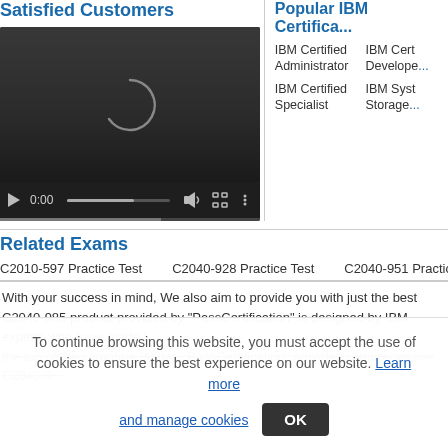Satisfied Customers
[Figure (screenshot): Video player with dark background showing a loading spinner arc and controls including play button, time display 0:00, volume, fullscreen, and more options icons]
Popular IBM Certifica...
IBM Certified Administrator
IBM Certified Developer
IBM Certified Specialist
IBM Systems Storage
Related Exams
C2010-597 Practice Test
C2040-928 Practice Test
C2040-951 Practice Te...
With your success in mind, We also aim to provide you with just the best C2040-985 product provided by "PassCertification" is designed by IBM experts who have made it the top of the corporate ladder. "PassCertification" provides comprehensive C2040-9...
To continue browsing this website, you must accept the use of cookies to ensure the best experience on our website. Learn more and manage cookies OK